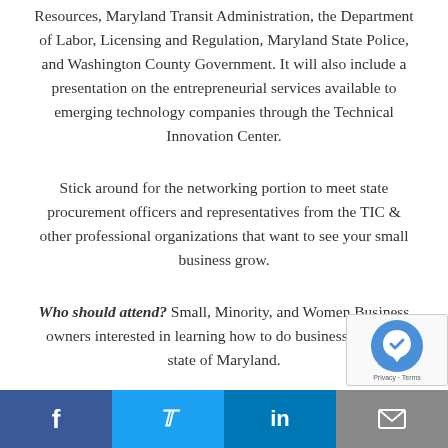Resources, Maryland Transit Administration, the Department of Labor, Licensing and Regulation, Maryland State Police, and Washington County Government. It will also include a presentation on the entrepreneurial services available to emerging technology companies through the Technical Innovation Center.
Stick around for the networking portion to meet state procurement officers and representatives from the TIC & other professional organizations that want to see your small business grow.
Who should attend? Small, Minority, and Women Business owners interested in learning how to do business with the state of Maryland.
Social media links: Facebook, Twitter, LinkedIn, Email